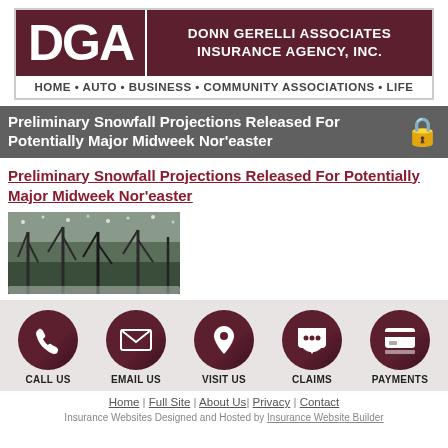[Figure (logo): DGA Donn Gerelli Associates Insurance Agency, Inc. logo with navigation bar: HOME · AUTO · BUSINESS · COMMUNITY ASSOCIATIONS · LIFE]
Preliminary Snowfall Projections Released For Potentially Major Midweek Nor'easter
Preliminary Snowfall Projections Released For Potentially Major Midweek Nor'easter
[Figure (photo): Winter scene with snow-covered trees]
[Figure (infographic): Footer icon buttons: CALL US, EMAIL US, VISIT US, CLAIMS, PAYMENTS]
Home | Full Site | About Us | Privacy | Contact
Insurance Websites Designed and Hosted by Insurance Website Builder